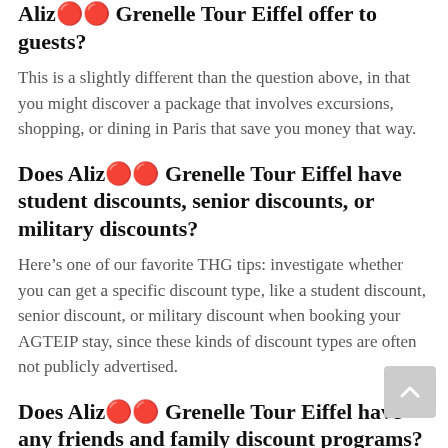Alizï¿½ï¿½ Grenelle Tour Eiffel offer to guests?
This is a slightly different than the question above, in that you might discover a package that involves excursions, shopping, or dining in Paris that save you money that way.
Does Alizï¿½ï¿½ Grenelle Tour Eiffel have student discounts, senior discounts, or military discounts?
Here’s one of our favorite THG tips: investigate whether you can get a specific discount type, like a student discount, senior discount, or military discount when booking your AGTEIP stay, since these kinds of discount types are often not publicly advertised.
Does Alizï¿½ï¿½ Grenelle Tour Eiffel have any friends and family discount programs?